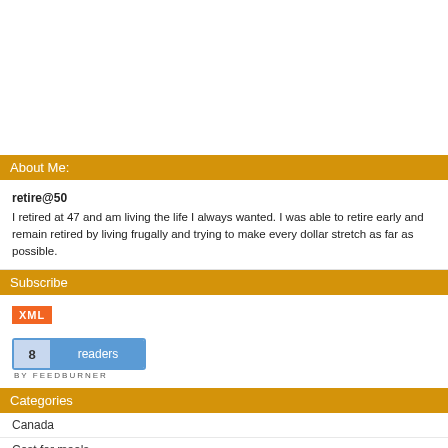About Me:
retire@50
I retired at 47 and am living the life I always wanted. I was able to retire early and remain retired by living frugally and trying to make every dollar stretch as far as possible.
Subscribe
[Figure (logo): XML RSS feed badge (orange) and FeedBurner badge showing 8 readers]
Categories
Canada
Cost for meals